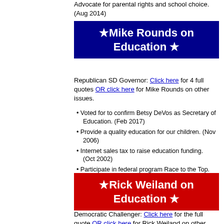Advocate for parental rights and school choice. (Aug 2014)
★ Mike Rounds on Education ★
Republican SD Governor: Click here for 4 full quotes OR click here for Mike Rounds on other issues.
Voted for to confirm Betsy DeVos as Secretary of Education. (Feb 2017)
Provide a quality education for our children. (Nov 2006)
Internet sales tax to raise education funding. (Oct 2002)
Participate in federal program Race to the Top. (Mar 2010)
★ Rick Weiland on Education ★
Democratic Challenger: Click here for the full quote OR click here for Rick Weiland on other issues.